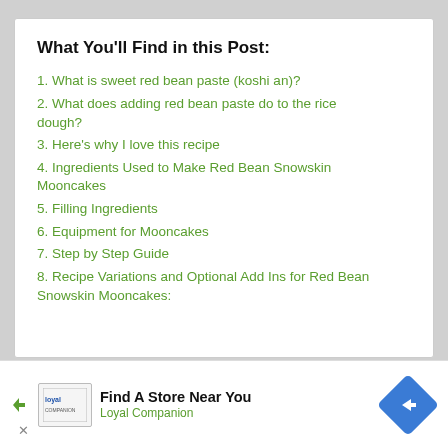What You'll Find in this Post:
1. What is sweet red bean paste (koshi an)?
2. What does adding red bean paste do to the rice dough?
3. Here's why I love this recipe
4. Ingredients Used to Make Red Bean Snowskin Mooncakes
5. Filling Ingredients
6. Equipment for Mooncakes
7. Step by Step Guide
8. Recipe Variations and Optional Add Ins for Red Bean Snowskin Mooncakes:
[Figure (other): Advertisement banner: Find A Store Near You - Loyal Companion, with logo and navigation arrow icon]